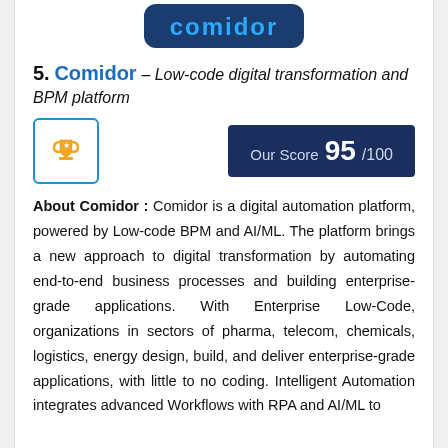[Figure (logo): Comidor logo with blue rounded rectangle background]
5. Comidor – Low-code digital transformation and BPM platform
[Figure (infographic): Trophy icon in blue-bordered box on left, dark navy 'Our Score 95/100' badge on right]
About Comidor : Comidor is a digital automation platform, powered by Low-code BPM and AI/ML. The platform brings a new approach to digital transformation by automating end-to-end business processes and building enterprise-grade applications. With Enterprise Low-Code, organizations in sectors of pharma, telecom, chemicals, logistics, energy design, build, and deliver enterprise-grade applications, with little to no coding. Intelligent Automation integrates advanced Workflows with RPA and AI/ML to